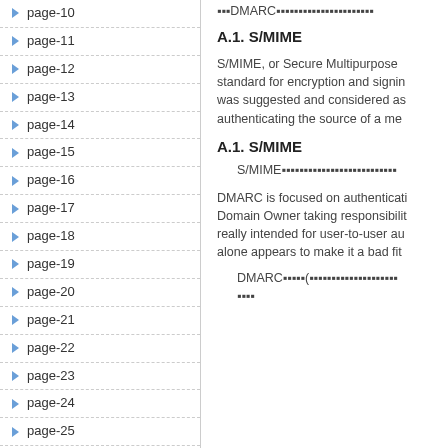page-10
page-11
page-12
page-13
page-14
page-15
page-16
page-17
page-18
page-19
page-20
page-21
page-22
page-23
page-24
page-25
page-26
page-27
page-28
▪DMARC▪▪▪▪▪▪▪▪▪▪▪▪▪▪▪▪▪▪▪
A.1. S/MIME
S/MIME, or Secure Multipurpose standard for encryption and signing was suggested and considered as authenticating the source of a me
A.1. S/MIME
S/MIME▪▪▪▪▪▪▪▪▪▪▪▪▪▪▪▪▪▪▪▪▪▪▪▪▪
DMARC is focused on authenticating Domain Owner taking responsibility really intended for user-to-user au alone appears to make it a bad fit
DMARC▪▪▪▪(▪▪▪▪▪▪▪▪▪▪▪▪▪▪▪▪▪▪▪▪